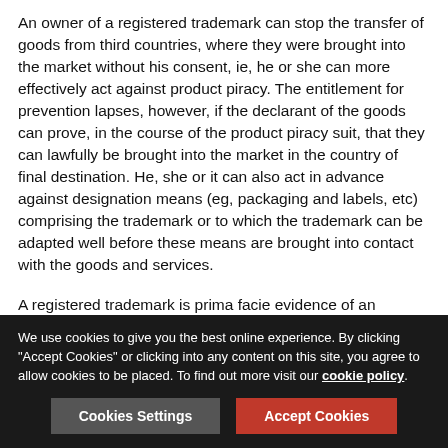An owner of a registered trademark can stop the transfer of goods from third countries, where they were brought into the market without his consent, ie, he or she can more effectively act against product piracy. The entitlement for prevention lapses, however, if the declarant of the goods can prove, in the course of the product piracy suit, that they can lawfully be brought into the market in the country of final destination. He, she or it can also act in advance against designation means (eg, packaging and labels, etc) comprising the trademark or to which the trademark can be adapted well before these means are brought into contact with the goods and services.
A registered trademark is prima facie evidence of an existing right before any administrative authority or court. However, in a trial, a court may examine the validity of a registered trademark in suit as a preliminary question.
We use cookies to give you the best online experience. By clicking "Accept Cookies" or clicking into any content on this site, you agree to allow cookies to be placed. To find out more visit our cookie policy.